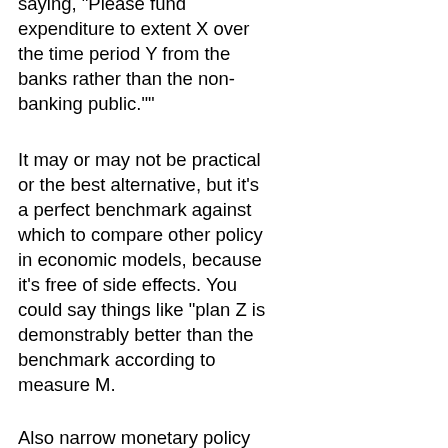saying, "Please fund expenditure to extent X over the time period Y from the banks rather than the non-banking public.""
It may or may not be practical or the best alternative, but it's a perfect benchmark against which to compare other policy in economic models, because it's free of side effects. You could say things like "plan Z is demonstrably better than the benchmark according to measure M.
Also narrow monetary policy doesn't really characterize past policy of many central banks, but Idigress, it is a hot